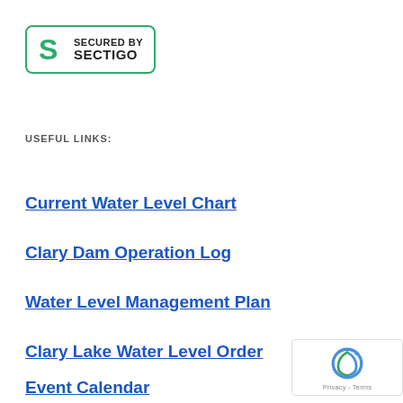[Figure (logo): Secured by Sectigo SSL badge with green S logo and text SECURED BY SECTIGO in a rounded rectangle border]
USEFUL LINKS:
Current Water Level Chart
Clary Dam Operation Log
Water Level Management Plan
Clary Lake Water Level Order
Event Calendar
[Figure (logo): Google reCAPTCHA badge with Privacy and Terms links]